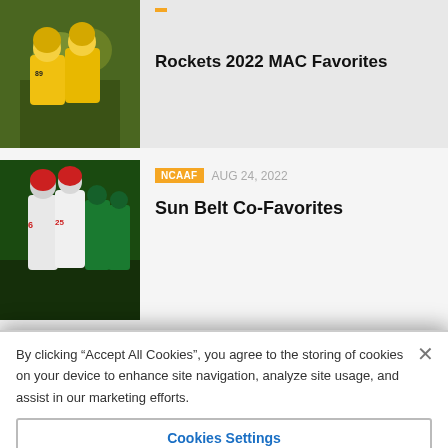[Figure (photo): Football players in yellow helmets celebrating on field, partial view at top of page]
Rockets 2022 MAC Favorites
[Figure (photo): Football players in white and red uniforms on field, player #6 and #25 visible]
NCAAF   AUG 24, 2022
Sun Belt Co-Favorites
By clicking “Accept All Cookies”, you agree to the storing of cookies on your device to enhance site navigation, analyze site usage, and assist in our marketing efforts.
Cookies Settings
Reject All
Accept All Cookies